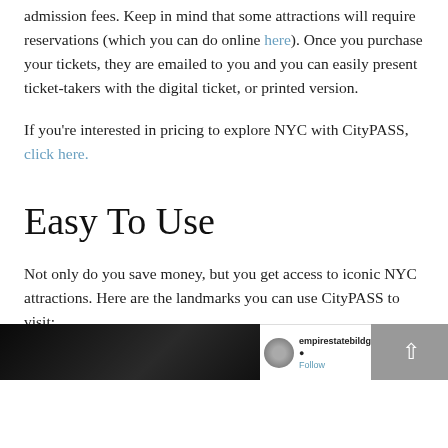admission fees. Keep in mind that some attractions will require reservations (which you can do online here). Once you purchase your tickets, they are emailed to you and you can easily present ticket-takers with the digital ticket, or printed version.
If you're interested in pricing to explore NYC with CityPASS, click here.
Easy To Use
Not only do you save money, but you get access to iconic NYC attractions. Here are the landmarks you can use CityPASS to visit:
The Empire State Building – iconic in name and stature!
[Figure (screenshot): Bottom of page showing a dark image on the left and a Twitter/social media snippet on the right with empirestatebildg handle and Follow button, plus a scroll-to-top button on the far right]